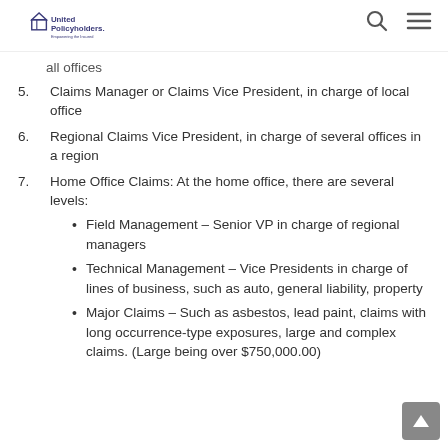United Policyholders
all offices
5. Claims Manager or Claims Vice President, in charge of local office
6. Regional Claims Vice President, in charge of several offices in a region
7. Home Office Claims: At the home office, there are several levels:
Field Management – Senior VP in charge of regional managers
Technical Management – Vice Presidents in charge of lines of business, such as auto, general liability, property
Major Claims – Such as asbestos, lead paint, claims with long occurrence-type exposures, large and complex claims. (Large being over $750,000.00)